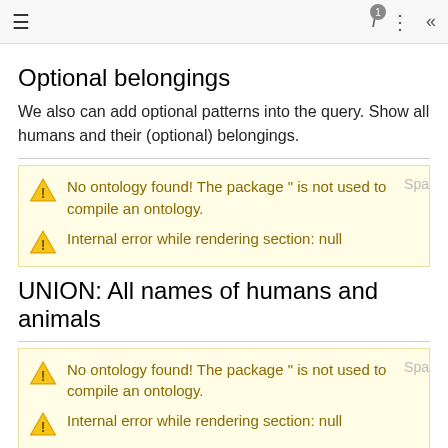≡   i ¹  ⋮  «
Optional belongings
We also can add optional patterns into the query. Show all humans and their (optional) belongings.
No ontology found! The package " is not used to compile an ontology.
Internal error while rendering section: null
UNION: All names of humans and animals
No ontology found! The package " is not used to compile an ontology.
Internal error while rendering section: null
Expected Compentency Questions: Intersecting Properties